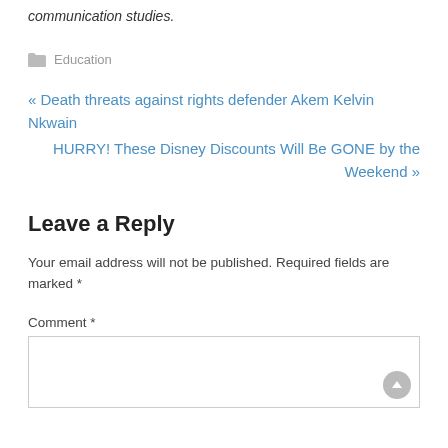communication studies.
Education
« Death threats against rights defender Akem Kelvin Nkwain
HURRY! These Disney Discounts Will Be GONE by the Weekend »
Leave a Reply
Your email address will not be published. Required fields are marked *
Comment *